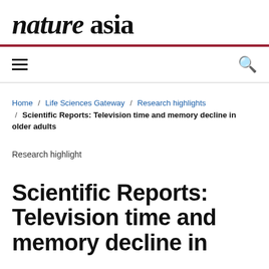nature asia
Home / Life Sciences Gateway / Research highlights / Scientific Reports: Television time and memory decline in older adults
Research highlight
Scientific Reports: Television time and memory decline in